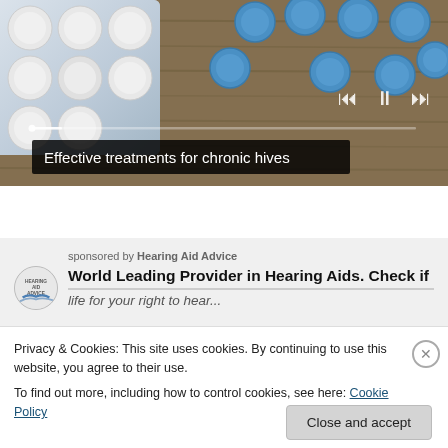[Figure (photo): Photo of white pill blister pack on left and scattered blue round pills on a wooden surface on the right, with media player controls (previous, pause, next) overlaid at bottom right, and a progress bar indicator.]
Effective treatments for chronic hives
sponsored by Hearing Aid Advice
World Leading Provider in Hearing Aids. Check if
Privacy & Cookies: This site uses cookies. By continuing to use this website, you agree to their use.
To find out more, including how to control cookies, see here: Cookie Policy
Close and accept